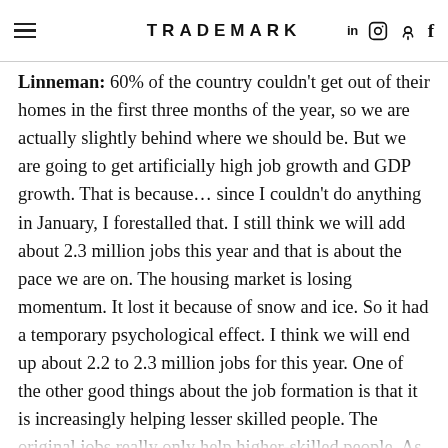TRADEMARK
Linneman: 60% of the country couldn't get out of their homes in the first three months of the year, so we are actually slightly behind where we should be. But we are going to get artificially high job growth and GDP growth. That is because… since I couldn't do anything in January, I forestalled that. I still think we will add about 2.3 million jobs this year and that is about the pace we are on. The housing market is losing momentum. It lost it because of snow and ice. So it had a temporary psychological effect. I think we will end up about 2.2 to 2.3 million jobs for this year. One of the other good things about the job formation is that it is increasingly helping lesser skilled people. The original jobs really only help higher-skilled people. As you get a better recovery in auto, and